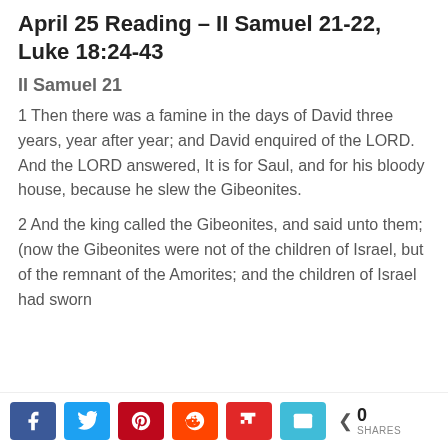April 25 Reading – II Samuel 21-22, Luke 18:24-43
II Samuel 21
1 Then there was a famine in the days of David three years, year after year; and David enquired of the LORD. And the LORD answered, It is for Saul, and for his bloody house, because he slew the Gibeonites.
2 And the king called the Gibeonites, and said unto them; (now the Gibeonites were not of the children of Israel, but of the remnant of the Amorites; and the children of Israel had sworn
0 SHARES